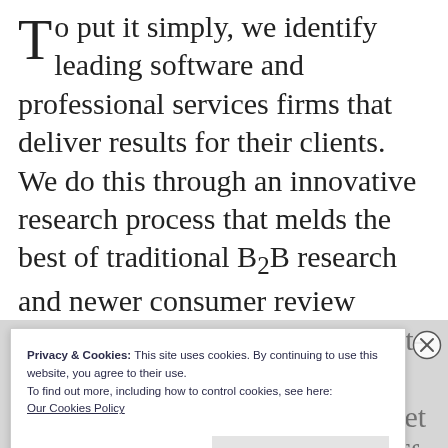To put it simply, we identify leading software and professional services firms that deliver results for their clients. We do this through an innovative research process that melds the best of traditional B2B research and newer consumer review services. Our research helps start-ups, mid-market and large enterprises find partners that meet their needs, whether for a one-off project or a long term relationship.
Privacy & Cookies: This site uses cookies. By continuing to use this website, you agree to their use.
To find out more, including how to control cookies, see here:
Our Cookies Policy
Close and accept